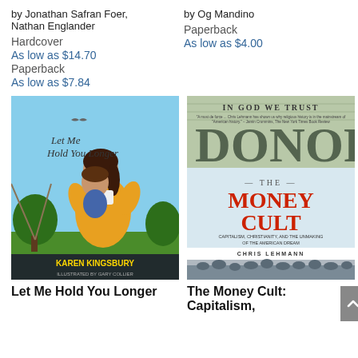by Jonathan Safran Foer, Nathan Englander
Hardcover
As low as $14.70
Paperback
As low as $7.84
by Og Mandino
Paperback
As low as $4.00
[Figure (photo): Book cover of 'Let Me Hold You Longer' by Karen Kingsbury, illustrated by Gary Colier. Shows a woman holding a child with trees in background.]
[Figure (photo): Book cover of 'The Money Cult: Capitalism, Christianity, and the Unmaking of the American Dream' by Chris Lehmann. Shows currency motif at top and historical crowd scene at bottom.]
Let Me Hold You Longer
The Money Cult: Capitalism,